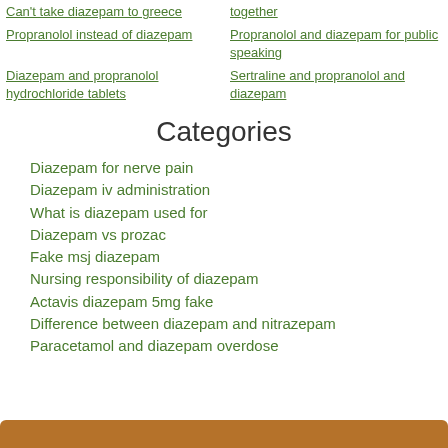Can't take diazepam to greece
together
Propranolol instead of diazepam
Propranolol and diazepam for public speaking
Diazepam and propranolol hydrochloride tablets
Sertraline and propranolol and diazepam
Categories
Diazepam for nerve pain
Diazepam iv administration
What is diazepam used for
Diazepam vs prozac
Fake msj diazepam
Nursing responsibility of diazepam
Actavis diazepam 5mg fake
Difference between diazepam and nitrazepam
Paracetamol and diazepam overdose